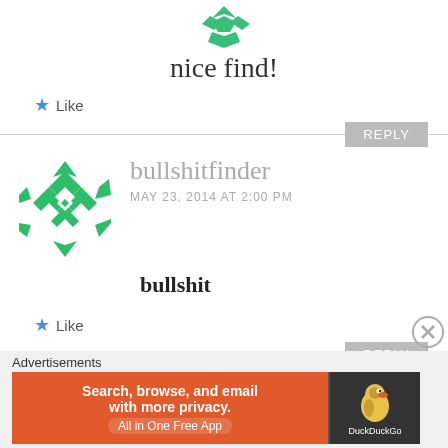[Figure (logo): Green decorative logo/icon at top center]
nice find!
★ Like
REPLY
[Figure (logo): Green geometric pattern avatar for user bullshitfinder]
bullshitfinder
MAY 23, 2014 AT 2:00 PM
bullshit
★ Like
REPLY
Advertisements
[Figure (screenshot): DuckDuckGo advertisement banner: Search, browse, and email with more privacy. All in One Free App]